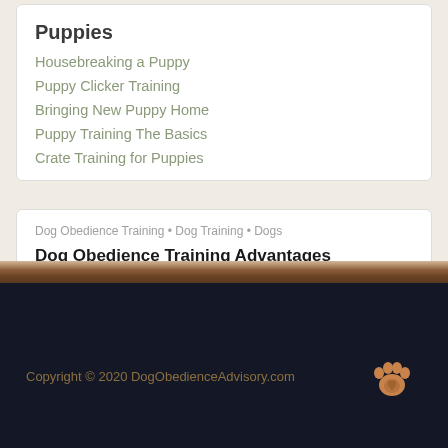Puppies
Housebreaking a Puppy
Puppy Clicker Training
Bringing New Puppy Home
Puppy Training The Basics
Crate Training for Puppies
Dog Obedience Training • Dog Training • Dogs
Dog Obedience Training Advantages
Obedience training is one of he most important investments you can make into your dog. It's an i...
Copyright © 2020 DogObedienceAdvisory.com